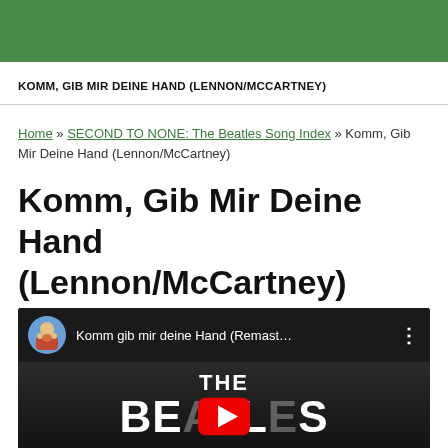KOMM, GIB MIR DEINE HAND (LENNON/MCCARTNEY)
Home » SECOND TO NONE: The Beatles Song Index » Komm, Gib Mir Deine Hand (Lennon/McCartney)
Komm, Gib Mir Deine Hand (Lennon/McCartney)
[Figure (screenshot): YouTube video embed showing 'Komm gib mir deine Hand (Remast...' with The Beatles Sgt. Pepper album art as channel icon, and The Beatles logo visible on the video thumbnail with YouTube play button overlay]